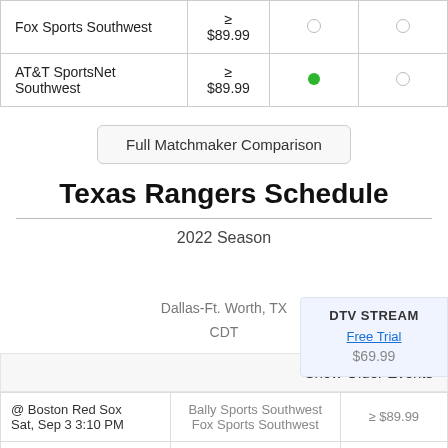| Channel | Price | Col3 | Col4 |
| --- | --- | --- | --- |
| Fox Sports Southwest | ≥ $89.99 |  | ○ |
| AT&T SportsNet Southwest | ≥ $89.99 | ● | ○ |
Full Matchmaker Comparison
Texas Rangers Schedule
2022 Season
DTV STREAM
Free Trial
$69.99
Dallas-Ft. Worth, TX
CDT
Show Older Events
| Event | Channel | Price |
| --- | --- | --- |
| @ Boston Red Sox
Sat, Sep 3 3:10 PM | Bally Sports Southwest
Fox Sports Southwest | ≥ $89.99 |